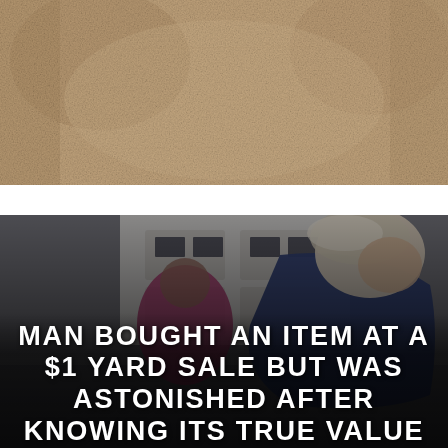[Figure (photo): Close-up photo of sandy/earthy textured surface, brownish-tan color with rough granular texture, filling the top portion of the page.]
[Figure (photo): Photo of an elderly man with white/grey hair bending over, wearing a dark blue jacket, at what appears to be a garage sale or yard sale setting. A person in a pink/magenta jacket is visible in the background. A white garage door with windows is visible behind them. The image has a dark, slightly moody tone.]
MAN BOUGHT AN ITEM AT A $1 YARD SALE BUT WAS ASTONISHED AFTER KNOWING ITS TRUE VALUE